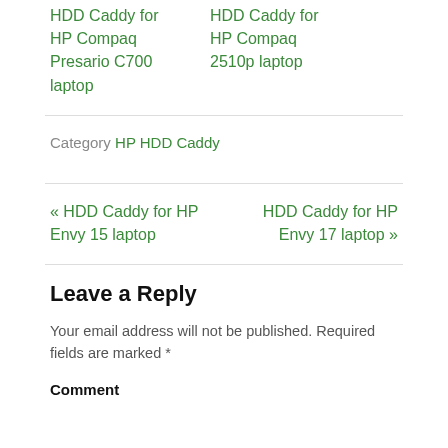HDD Caddy for HP Compaq Presario C700 laptop
HDD Caddy for HP Compaq 2510p laptop
Category HP HDD Caddy
« HDD Caddy for HP Envy 15 laptop
HDD Caddy for HP Envy 17 laptop »
Leave a Reply
Your email address will not be published. Required fields are marked *
Comment